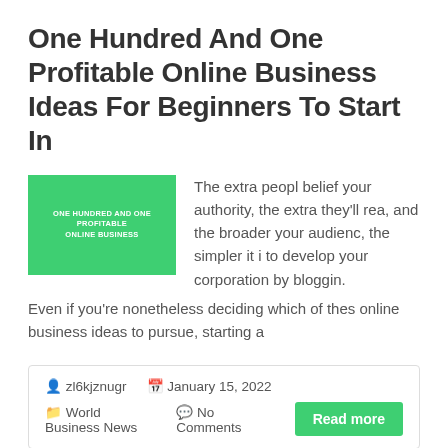One Hundred And One Profitable Online Business Ideas For Beginners To Start In
[Figure (illustration): Green thumbnail image with white text reading 'ONE HUNDRED AND ONE PROFITABLE ONLINE BUSINESS']
The extra peopl belief your authority, the extra they'll rea, and the broader your audienc, the simpler it i to develop your corporation by bloggin. Even if you're nonetheless deciding which of thes online business ideas to pursue, starting a
zl6kjznugr  January 15, 2022  World Business News  No Comments
Read more